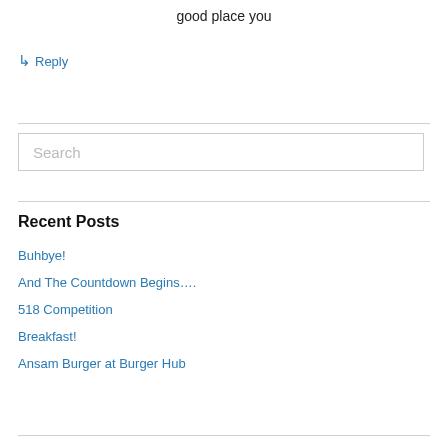good place you
↳ Reply
Recent Posts
Buhbye!
And The Countdown Begins….
518 Competition
Breakfast!
Ansam Burger at Burger Hub